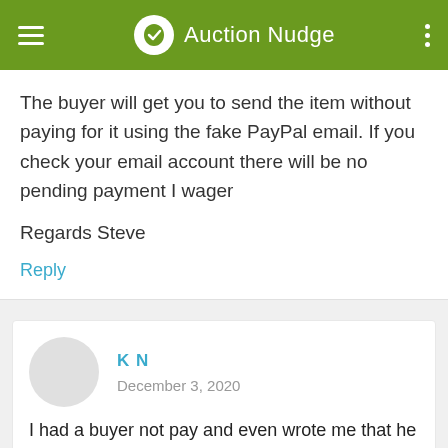Auction Nudge
The buyer will get you to send the item without paying for it using the fake PayPal email. If you check your email account there will be no pending payment I wager

Regards Steve
Reply
K N
December 3, 2020
I had a buyer not pay and even wrote me that he was not paying. opened a case, then closed it after 4 days